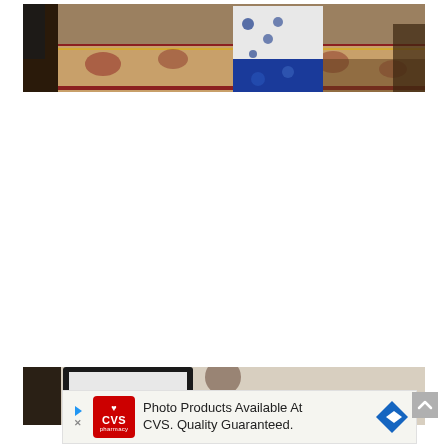[Figure (photo): Interior scene showing ornate patterned rugs on the floor and a person (partially visible, wearing a white and blue floral dress with blue skirt) standing among the rugs in what appears to be a rug shop or home interior]
[Figure (photo): Partially visible photo at the bottom of the page, appears to show an indoor scene with a monitor or screen visible]
Photo Products Available At CVS. Quality Guaranteed.